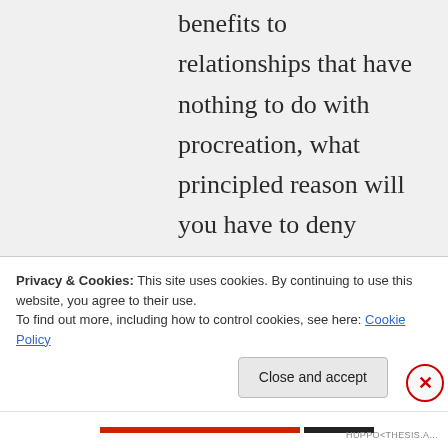benefits to relationships that have nothing to do with procreation, what principled reason will you have to deny marriage to threesomes, quartets, BFF's, and golfing buddies? For that matter, what
Privacy & Cookies: This site uses cookies. By continuing to use this website, you agree to their use.
To find out more, including how to control cookies, see here: Cookie Policy
Close and accept